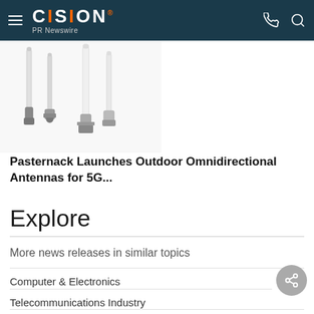CISION PR Newswire
[Figure (photo): Product photo of outdoor omnidirectional antennas for 5G — multiple vertical antenna poles with mounting hardware against a white background]
Pasternack Launches Outdoor Omnidirectional Antennas for 5G...
Explore
More news releases in similar topics
Computer & Electronics
Telecommunications Industry
Telecommunications Equipment